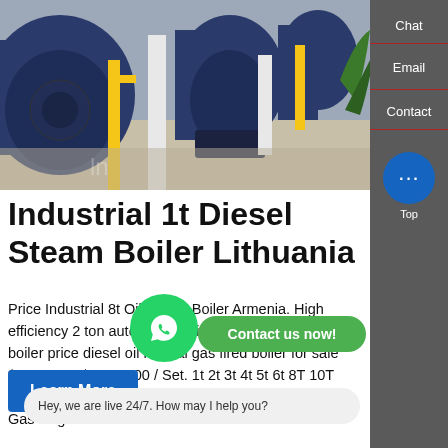[Figure (photo): Industrial boiler room with large blue cylindrical boilers, yellow piping, white columns, and polished floor in a manufacturing facility.]
Industrial 1t Diesel Steam Boiler Lithuania
Price Industrial 8t Oil Steam Boiler Armenia. High efficiency 2 ton automatic horizontal fire tube steam boiler price diesel oil natural gas fired boiler for sale $22680.00-$25565.00 / Set. 1t 2t 3t 4t 5t 6t 8T 10T Industrial Firetube Diesel Heavy Oil Natural Methane Gas Cng Fired Steam Boiler.
Learn More
Chat
Email
Contact
Hey, we are live 24/7. How may I help you?
Contact us now!
Top